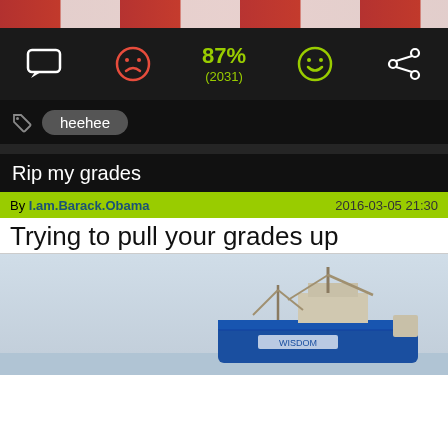[Figure (photo): Top portion of a photo partially visible at the top of the screen — appears to show people or a colorful image in red tones]
87% (2031)
heehee
Rip my grades
By I.am.Barack.Obama   2016-03-05 21:30
Trying to pull your grades up
[Figure (photo): Photo of a large blue cargo/fishing ship with cranes and masts against a grey sky]